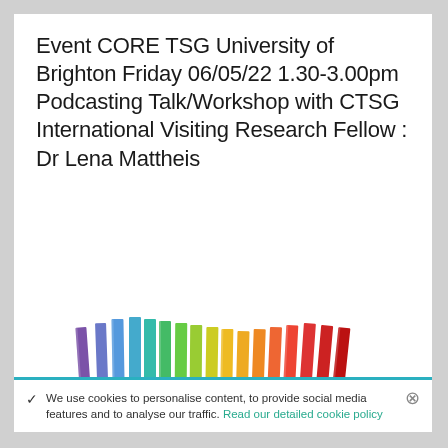Event CORE TSG University of Brighton Friday 06/05/22 1.30-3.00pm Podcasting Talk/Workshop with CTSG International Visiting Research Fellow : Dr Lena Mattheis
[Figure (illustration): Row of colorful books standing upright arranged in rainbow color order from purple/blue on the left through green, yellow, orange to red on the right, viewed from the side on a white background.]
✓  We use cookies to personalise content, to provide social media features and to analyse our traffic. Read our detailed cookie policy